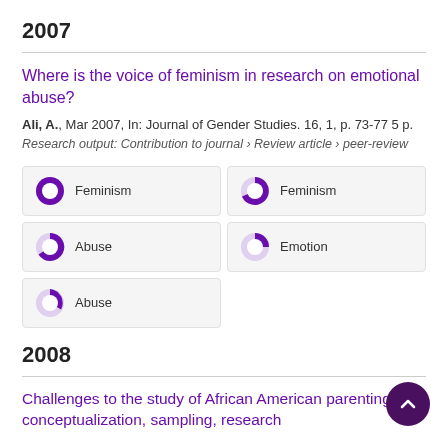2007
Where is the voice of feminism in research on emotional abuse?
Ali, A., Mar 2007, In: Journal of Gender Studies. 16, 1, p. 73-77 5 p.
Research output: Contribution to journal › Review article › peer-review
[Figure (infographic): Six keyword badges with donut/pie chart icons showing relative percentage fill. Left column: Feminism (100%), Abuse (~65%), Abuse (~40%). Right column: Feminism (~70%), Emotion (~50%).]
2008
Challenges to the study of African American parenting: conceptualization, sampling, research design, and measurement